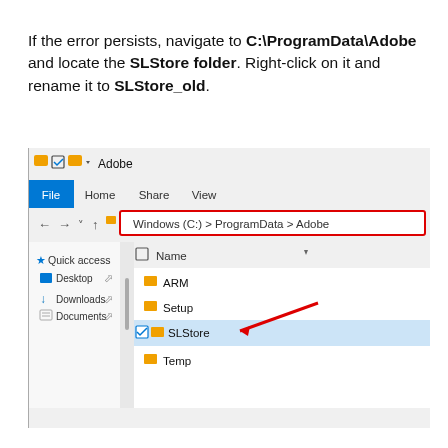If the error persists, navigate to C:\ProgramData\Adobe and locate the SLStore folder. Right-click on it and rename it to SLStore_old.
[Figure (screenshot): Windows File Explorer screenshot showing navigation to Windows (C:) > ProgramData > Adobe with folders ARM, Setup, SLStore (selected, highlighted in blue with red arrow pointing to it), and Temp visible. Left panel shows Quick access, Desktop, Downloads, Documents.]